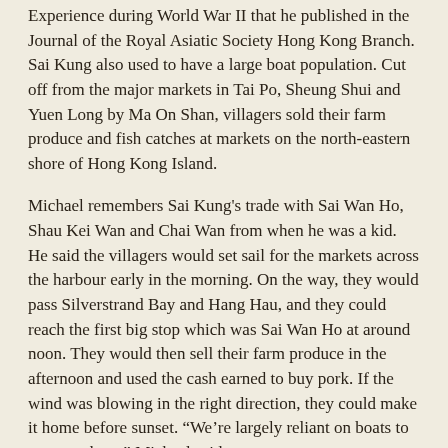Experience during World War II that he published in the Journal of the Royal Asiatic Society Hong Kong Branch. Sai Kung also used to have a large boat population. Cut off from the major markets in Tai Po, Sheung Shui and Yuen Long by Ma On Shan, villagers sold their farm produce and fish catches at markets on the north-eastern shore of Hong Kong Island.
Michael remembers Sai Kung's trade with Sai Wan Ho, Shau Kei Wan and Chai Wan from when he was a kid. He said the villagers would set sail for the markets across the harbour early in the morning. On the way, they would pass Silverstrand Bay and Hang Hau, and they could reach the first big stop which was Sai Wan Ho at around noon. They would then sell their farm produce in the afternoon and used the cash earned to buy pork. If the wind was blowing in the right direction, they could make it home before sunset. “We’re largely reliant on boats to get anywhere,” Michael said.
Like many Sai Kung natives, the Wongs are Catholics